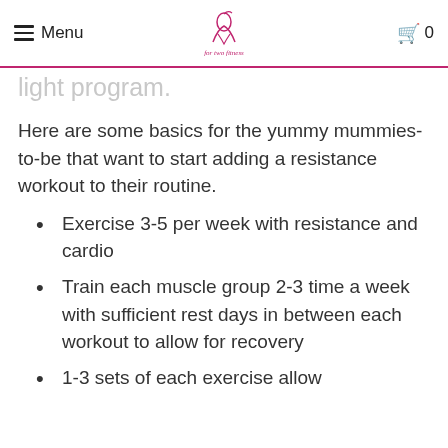Menu | [logo] | 0
light program.
Here are some basics for the yummy mummies-to-be that want to start adding a resistance workout to their routine.
Exercise 3-5 per week with resistance and cardio
Train each muscle group 2-3 time a week with sufficient rest days in between each workout to allow for recovery
1-3 sets of each exercise allow